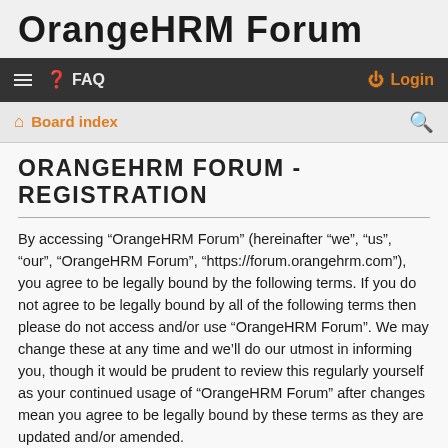OrangeHRM Forum
☰  FAQ    Login
🏠 Board index
ORANGEHRM FORUM - REGISTRATION
By accessing “OrangeHRM Forum” (hereinafter “we”, “us”, “our”, “OrangeHRM Forum”, “https://forum.orangehrm.com”), you agree to be legally bound by the following terms. If you do not agree to be legally bound by all of the following terms then please do not access and/or use “OrangeHRM Forum”. We may change these at any time and we’ll do our utmost in informing you, though it would be prudent to review this regularly yourself as your continued usage of “OrangeHRM Forum” after changes mean you agree to be legally bound by these terms as they are updated and/or amended.
Our forums are powered by phpBB (hereinafter “they”, “them”, “their”, “phpBB software”, “www.phpbb.com”, “phpBB Limited”, “phpBB Teams”) which is a bulletin board solution released